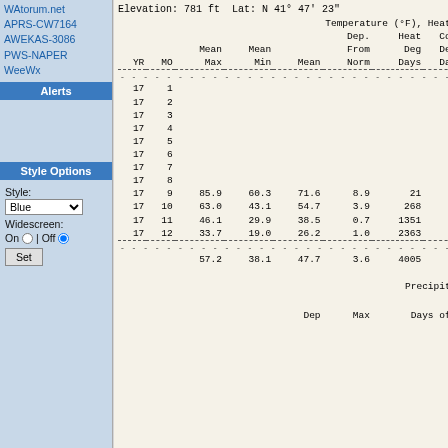WAtorum.net
APRS-CW7164
AWEKAS-3086
PWS-NAPER
WeeWx
Alerts
Style Options
Style: Blue
Widescreen: On | Off
Set
Elevation: 781 ft  Lat: N 41° 47' 23"
| YR | MO | Mean Max | Mean Min | Mean | Dep. From Norm | Heat Deg Days | Co Da |
| --- | --- | --- | --- | --- | --- | --- | --- |
| 17 | 1 |  |  |  |  |  |  |
| 17 | 2 |  |  |  |  |  |  |
| 17 | 3 |  |  |  |  |  |  |
| 17 | 4 |  |  |  |  |  |  |
| 17 | 5 |  |  |  |  |  |  |
| 17 | 6 |  |  |  |  |  |  |
| 17 | 7 |  |  |  |  |  |  |
| 17 | 8 |  |  |  |  |  |  |
| 17 | 9 | 85.9 | 60.3 | 71.6 | 8.9 | 21 |  |
| 17 | 10 | 63.0 | 43.1 | 54.7 | 3.9 | 268 |  |
| 17 | 11 | 46.1 | 29.9 | 38.5 | 0.7 | 1351 |  |
| 17 | 12 | 33.7 | 19.0 | 26.2 | 1.0 | 2363 |  |
|  |  | 57.2 | 38.1 | 47.7 | 3.6 | 4005 |  |
Temperature (°F), Heat
Precipit
Dep   Max   Days of